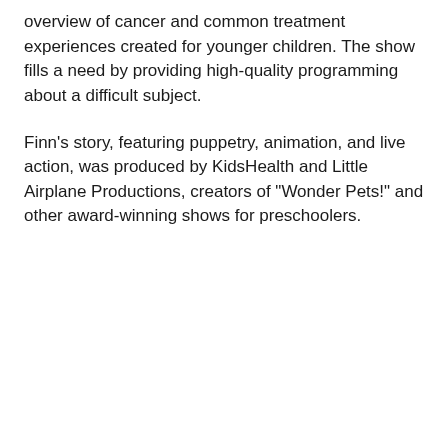overview of cancer and common treatment experiences created for younger children. The show fills a need by providing high-quality programming about a difficult subject.
Finn's story, featuring puppetry, animation, and live action, was produced by KidsHealth and Little Airplane Productions, creators of "Wonder Pets!" and other award-winning shows for preschoolers.